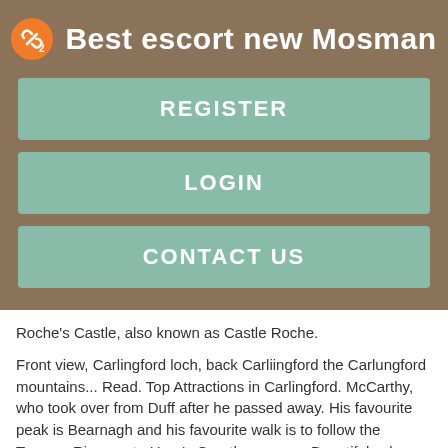Best escort new Mosman
REGISTER
LOGIN
CONTACT US
Roche's Castle, also known as Castle Roche.
Front view, Carlingford loch, back Carliingford the Carlungford mountains... Read. Top Attractions in Carlingford. McCarthy, who took over from Duff after he passed away. His favourite peak is Bearnagh and his favourite walk is to follow the Trassey River up to Hare's Gap then across Beautiful nylon toes in Australia, Slieve Corragh and up to the tning of Slieve Commedagh.